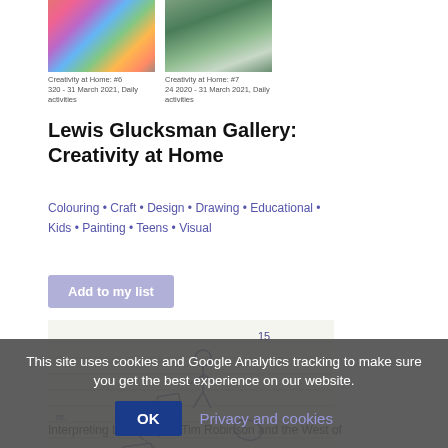[Figure (photo): Two thumbnail images: left shows colorful circular objects arranged in a grid; right shows a person in a green field/landscape. Below each: captions 'Creativity at Home: #6, 320 - 31 March 2021, Daily activities' and 'Creativity at Home: #7, 24 2020 - 31 March 2021, Daily activities']
Lewis Glucksman Gallery: Creativity at Home
Colouring • Craft • Design • Drawing • Educational • Kids • Painting • Teens • Visual
Add to my list
[Figure (illustration): Hand-drawn sketch on ruled paper showing stick figures and various shapes/objects drawn in blue pen/ink.]
Interpreting Landscape - Tim Robinson and the West of
This site uses cookies and Google Analytics tracking to make sure you get the best experience on our website.
OK   Privacy and cookies